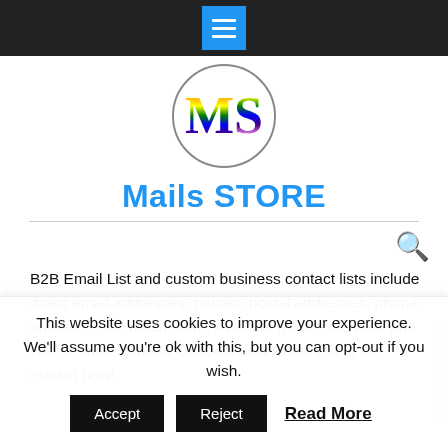Navigation menu button
[Figure (logo): MS logo inside a circle with rainbow-colored letters M and S]
Mails STORE
B2B Email List and custom business contact lists include direct email addresses, names, postal addresses, phone numbers, and much more. Avail the most expansive and well-defined Canada Orthodontists Email List in the market now!
This website uses cookies to improve your experience. We'll assume you're ok with this, but you can opt-out if you wish.
Accept   Reject   Read More